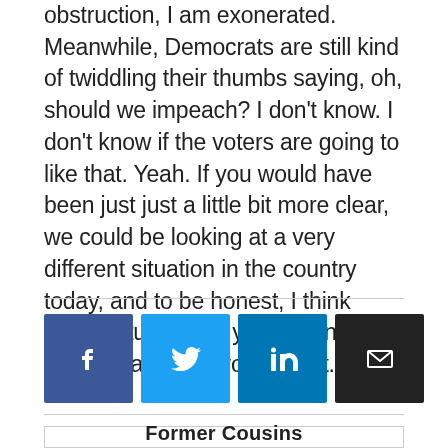obstruction, I am exonerated. Meanwhile, Democrats are still kind of twiddling their thumbs saying, oh, should we impeach? I don't know. I don't know if the voters are going to like that. Yeah. If you would have been just just a little bit more clear, we could be looking at a very different situation in the country today, and to be honest, I think that's actually why you weren't more clear about your report.
[Figure (infographic): Four social media sharing buttons: Facebook (blue), Twitter (light blue), LinkedIn (dark blue), Email (black)]
Former Cousins